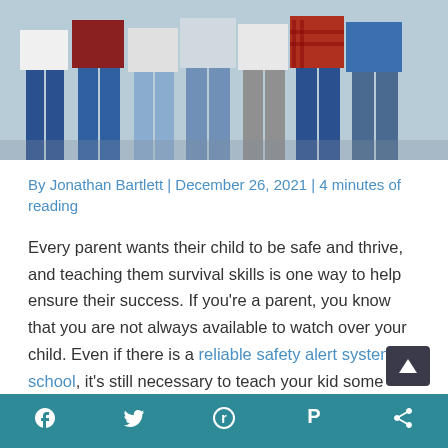[Figure (photo): Group of teenagers/young people standing together, showing lower bodies and torsos from multiple people in a row]
By Jonathan Bartlett | December 26, 2021 | 4 minutes of reading
Every parent wants their child to be safe and thrive, and teaching them survival skills is one way to help ensure their success. If you're a parent, you know that you are not always available to watch over your child. Even if there is a reliable safety alert system at school, it's still necessary to teach your kid some survival skills.
f  Twitter  Reddit  Pinterest  Share